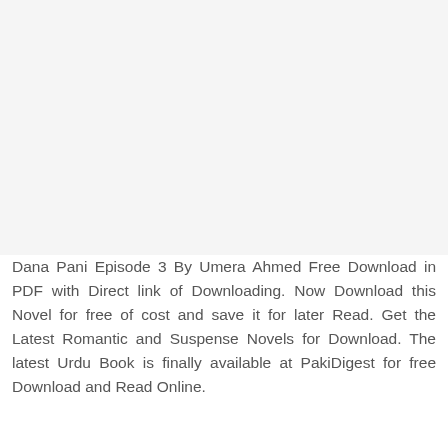[Figure (other): Blank gray/white area at top of page, likely a placeholder for an image]
Dana Pani Episode 3 By Umera Ahmed Free Download in PDF with Direct link of Downloading. Now Download this Novel for free of cost and save it for later Read. Get the Latest Romantic and Suspense Novels for Download. The latest Urdu Book is finally available at PakiDigest for free Download and Read Online.